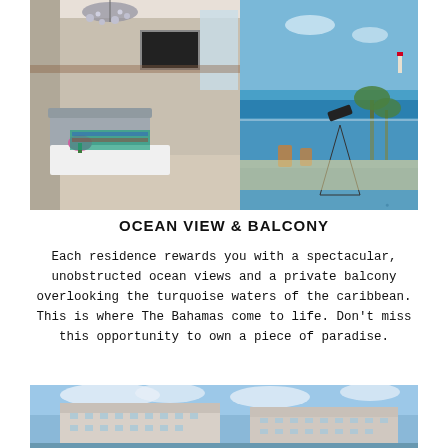[Figure (photo): Interior view of a luxury residence showing a modern living/dining area with chandelier, ocean view balcony with telescope, turquoise Caribbean water visible in background]
OCEAN VIEW & BALCONY
Each residence rewards you with a spectacular, unobstructed ocean views and a private balcony overlooking the turquoise waters of the caribbean. This is where The Bahamas come to life. Don't miss this opportunity to own a piece of paradise.
[Figure (photo): Exterior view of a luxury coastal residential building complex against a blue sky with clouds, showing modern white architecture near the ocean]